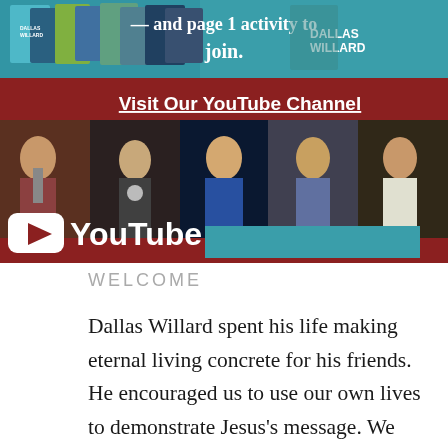[Figure (screenshot): Top banner with teal background showing Dallas Willard books and text about joining a Facebook page]
[Figure (screenshot): YouTube channel banner with dark red background showing 'Visit Our YouTube Channel' heading, a row of photos of Dallas Willard speaking, the YouTube logo with play button, and a teal bar]
WELCOME
Dallas Willard spent his life making eternal living concrete for his friends. He encouraged us to use our own lives to demonstrate Jesus's message. We must be transformed people living out a life reflective of